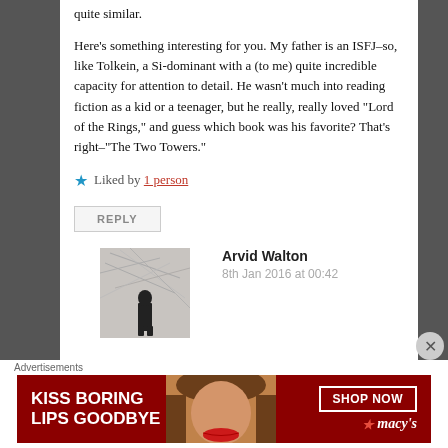quite similar.
Here's something interesting for you. My father is an ISFJ–so, like Tolkein, a Si-dominant with a (to me) quite incredible capacity for attention to detail. He wasn't much into reading fiction as a kid or a teenager, but he really, really loved "Lord of the Rings," and guess which book was his favorite? That's right–"The Two Towers."
★ Liked by 1 person
REPLY
Arvid Walton
8th Jan 2016 at 00:42
Advertisements
[Figure (infographic): Macy's advertisement banner with dark red background, woman's face with red lips, text 'KISS BORING LIPS GOODBYE', 'SHOP NOW' button, and Macy's star logo]